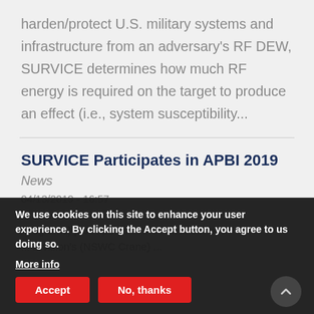harden/protect U.S. military systems and infrastructure from an adversary's RF DEW, SURVICE determines how much RF energy is required on the target to produce an effect (i.e., system susceptibility...
SURVICE Participates in APBI 2019
News
04/13/2019 - 16:57
... Director of ... ograms) participated in the Naval Surface ... Division's (NSWC Crane) ...
We use cookies on this site to enhance your user experience. By clicking the Accept button, you agree to us doing so.
More info
Accept   No, thanks